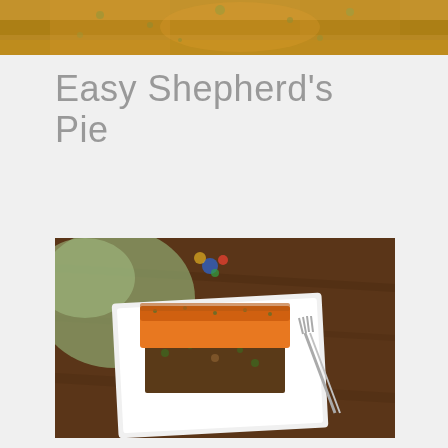[Figure (photo): Top banner photo of food — appears to show a baked dish with golden/herb topping, cropped at top of page]
Easy Shepherd's Pie
[Figure (photo): A serving of shepherd's pie with orange sweet potato topping on a white square plate with a fork, on a wooden table with a green cloth and colorful decoration in background]
This is an amazing paleo version of the traditional shepherd's pie. I was never a fan of sweet